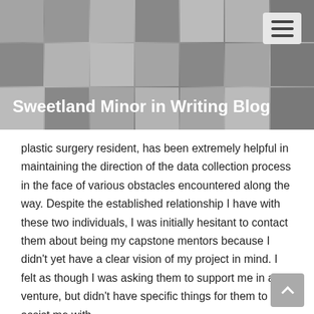[Figure (photo): Collage of photos forming a banner background for the Sweetland Minor in Writing Blog header]
Sweetland Minor in Writing Blog
plastic surgery resident, has been extremely helpful in maintaining the direction of the data collection process in the face of various obstacles encountered along the way. Despite the established relationship I have with these two individuals, I was initially hesitant to contact them about being my capstone mentors because I didn't yet have a clear vision of my project in mind. I felt as though I was asking them to support me in a venture, but didn't have specific things for them to assist me with.
I am curious whether other capstone students have experienced this same dilemma. Does the importance of contacting potential members early in the semester outweigh the importance of having all the related to...